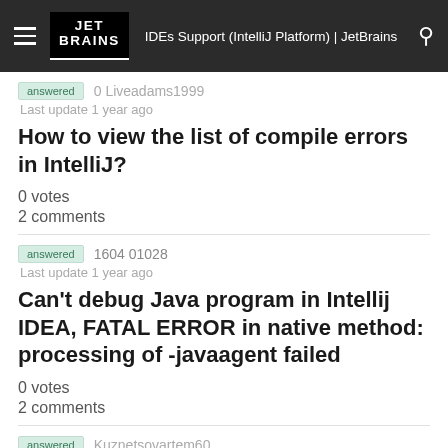IDEs Support (IntelliJ Platform) | JetBrains
answered  0 Liveadams1999
Last update 1 year ago
How to view the list of compile errors in IntelliJ?
0 votes
2 comments
answered  1604 01028
Last update 1 year ago
Can't debug Java program in Intellij IDEA, FATAL ERROR in native method: processing of -javaagent failed
0 votes
2 comments
answered  Kuznetsovartem60